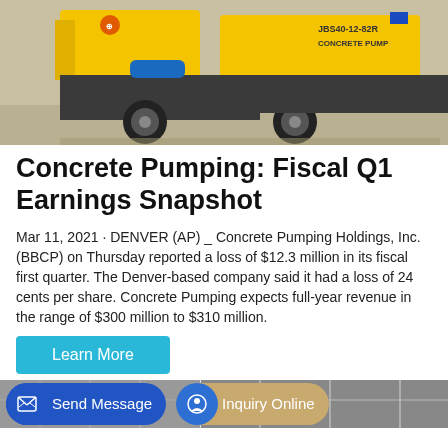[Figure (photo): Yellow concrete pump truck labeled JBS40-12-82R CONCRETE PUMP parked outdoors on pavement.]
Concrete Pumping: Fiscal Q1 Earnings Snapshot
Mar 11, 2021 · DENVER (AP) _ Concrete Pumping Holdings, Inc. (BBCP) on Thursday reported a loss of $12.3 million in its fiscal first quarter. The Denver-based company said it had a loss of 24 cents per share. Concrete Pumping expects full-year revenue in the range of $300 million to $310 million.
Learn More
[Figure (photo): Partial view of industrial warehouse or factory interior with metal structures.]
Send Message
Inquiry Online